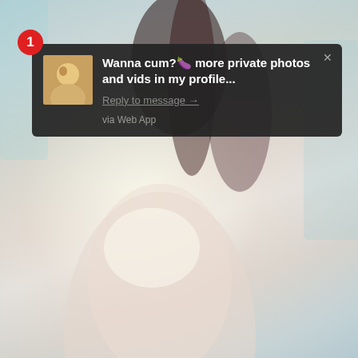[Figure (screenshot): A smartphone notification overlay on top of a blurred/stylized background image. The notification shows a message with a profile photo thumbnail, bold text reading 'Wanna cum? more private photos and vids in my profile...', a 'Reply to message' link, and 'via Web App' text. A red badge with the number 1 appears in the top-left corner of the notification.]
Wanna cum?🍆 more private photos and vids in my profile...
Reply to message →
via Web App